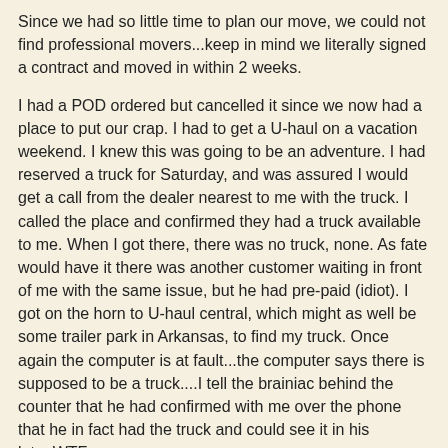Since we had so little time to plan our move, we could not find professional movers...keep in mind we literally signed a contract and moved in within 2 weeks.
I had a POD ordered but cancelled it since we now had a place to put our crap. I had to get a U-haul on a vacation weekend. I knew this was going to be an adventure. I had reserved a truck for Saturday, and was assured I would get a call from the dealer nearest to me with the truck. I called the place and confirmed they had a truck available to me. When I got there, there was no truck, none. As fate would have it there was another customer waiting in front of me with the same issue, but he had pre-paid (idiot). I got on the horn to U-haul central, which might as well be some trailer park in Arkansas, to find my truck. Once again the computer is at fault...the computer says there is supposed to be a truck....I tell the brainiac behind the counter that he had confirmed with me over the phone that he in fact had the truck and could see it in his lot....WTF
Turns out my (or the customer in front of me) truck had been rented and was supposed to be back at nine. Nevertheless